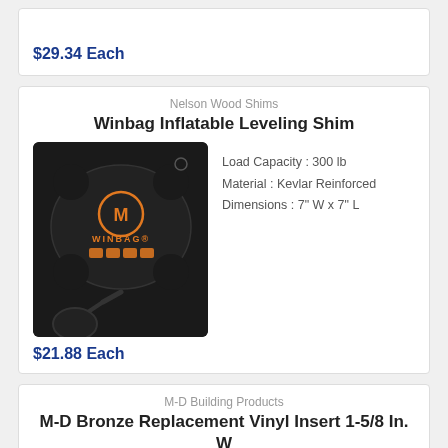$29.34 Each
Nelson Wood Shims
Winbag Inflatable Leveling Shim
[Figure (photo): Photo of a black inflatable leveling shim bag labeled WINBAG with an orange pump bulb attached]
Load Capacity : 300 lb
Material : Kevlar Reinforced
Dimensions : 7" W x 7" L
$21.88 Each
M-D Building Products
M-D Bronze Replacement Vinyl Insert 1-5/8 In. W x 1/8 In. D x 36 In. L